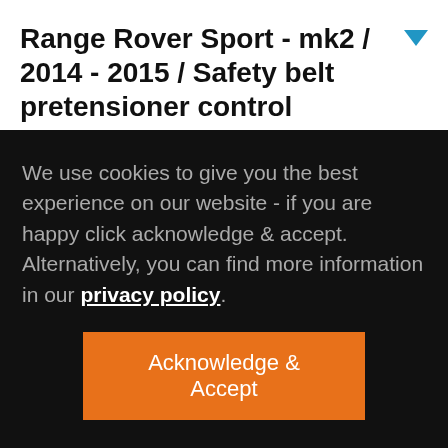Range Rover Sport - mk2 / 2014 - 2015 / Safety belt pretensioner control module B - passengers side
Range Rover Sport - mk2 / 2014 - 2015 / Safety belt pretensioner control
We use cookies to give you the best experience on our website - if you are happy click acknowledge & accept. Alternatively, you can find more information in our privacy policy.
Acknowledge & Accept